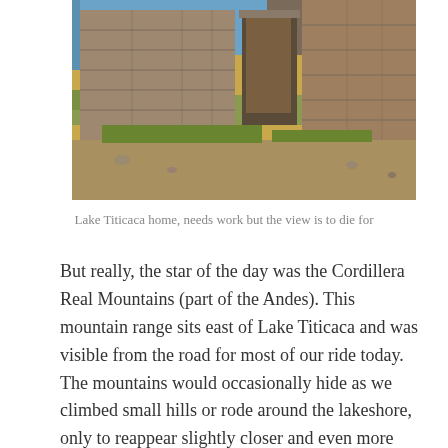[Figure (photo): Photograph of a stone building ruin near Lake Titicaca with dry grassy ground and blue water visible in the background.]
Lake Titicaca home, needs work but the view is to die for
But really, the star of the day was the Cordillera Real Mountains (part of the Andes).  This mountain range sits east of Lake Titicaca and was visible from the road for most of our ride today.  The mountains would occasionally hide as we climbed small hills or rode around the lakeshore, only to reappear slightly closer and even more dramatic on the next rise.  It was hard not to stop and take yet another photo with every new appearance, even Nancy was stopping and getting her